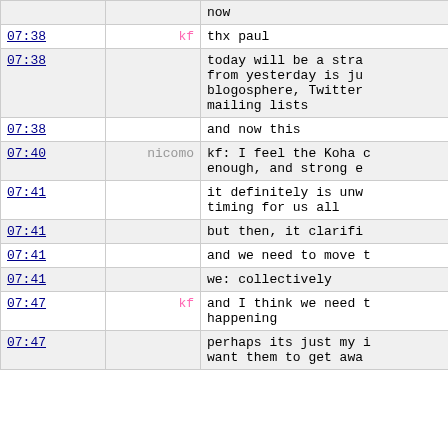| time | user | message |
| --- | --- | --- |
|  |  | now |
| 07:38 | kf | thx paul |
| 07:38 |  | today will be a stra from yesterday is ju blogosphere, Twitter mailing lists |
| 07:38 |  | and now this |
| 07:40 | nicomo | kf: I feel the Koha enough, and strong e |
| 07:41 |  | it definitely is unw timing for us all |
| 07:41 |  | but then, it clarifi |
| 07:41 |  | and we need to move |
| 07:41 |  | we: collectively |
| 07:47 | kf | and I think we need happening |
| 07:47 |  | perhaps its just my want them to get awa |